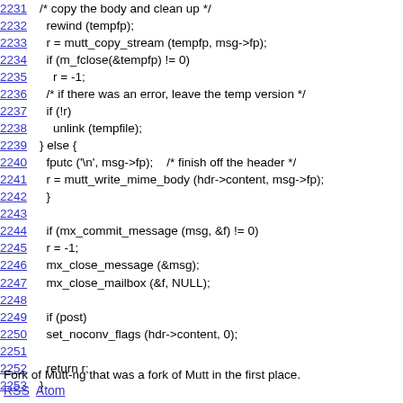Code listing lines 2231-2253 showing C source code for mutt email client
Fork of Mutt-ng that was a fork of Mutt in the first place.
RSS Atom